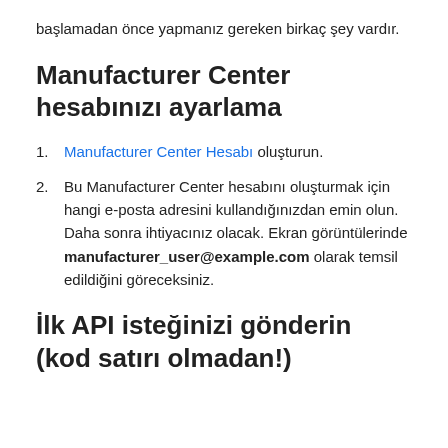başlamadan önce yapmanız gereken birkaç şey vardır.
Manufacturer Center hesabınızı ayarlama
Manufacturer Center Hesabı oluşturun.
Bu Manufacturer Center hesabını oluşturmak için hangi e-posta adresini kullandığınızdan emin olun. Daha sonra ihtiyacınız olacak. Ekran görüntülerinde manufacturer_user@example.com olarak temsil edildiğini göreceksiniz.
İlk API isteğinizi gönderin (kod satırı olmadan!)